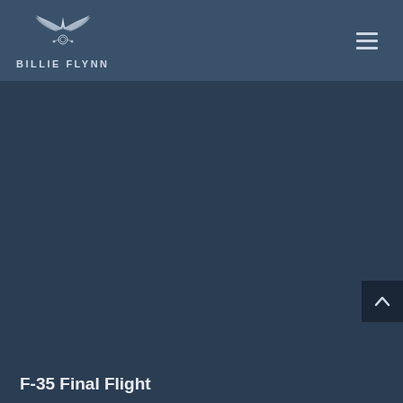[Figure (logo): Billie Flynn logo with stylized eagle/wings and jet aircraft icon above the text BILLIE FLYNN]
BILLIE FLYNN
[Figure (illustration): Dark blue-grey background main content area, largely empty]
F-35 Final Flight